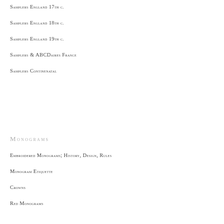Samplers England 17th c.
Samplers England 18th c.
Samplers England 19th c.
Samplers & ABCDaires France
Samplers Continenatal
Monograms
Embroidered Monograms; History, Design, Rules
Monogram Etiquette
Crowns
Red Monograms